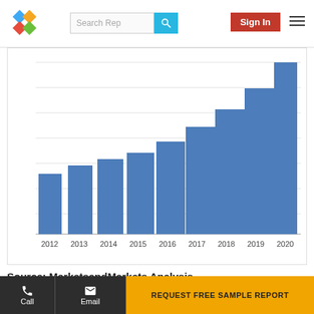MarketsandMarkets — Search Reports | Sign In
[Figure (bar-chart): Market Size by Year]
Source: MarketsandMarkets Analysis
We use cookies to enhance your experience. By continuing to visit this site you agree to our use of cookies . More info .
Call | Email | REQUEST FREE SAMPLE REPORT